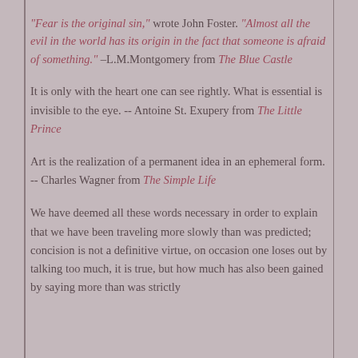"Fear is the original sin," wrote John Foster. "Almost all the evil in the world has its origin in the fact that someone is afraid of something." –L.M.Montgomery from The Blue Castle
It is only with the heart one can see rightly. What is essential is invisible to the eye. -- Antoine St. Exupery from The Little Prince
Art is the realization of a permanent idea in an ephemeral form. -- Charles Wagner from The Simple Life
We have deemed all these words necessary in order to explain that we have been traveling more slowly than was predicted; concision is not a definitive virtue, on occasion one loses out by talking too much, it is true, but how much has also been gained by saying more than was strictly